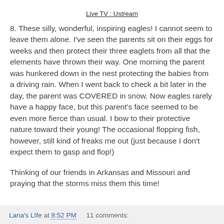Live TV : Ustream
8.  These silly, wonderful, inspiring eagles!  I cannot seem to leave them alone.  I've seen the parents sit on their eggs for weeks and then protect their three eaglets from all that the elements have thrown their way.  One morning the parent was hunkered down in the nest protecting the babies from a driving rain.  When I went back to check a bit later in the day, the parent was COVERED in snow.  Now eagles rarely have a happy face, but this parent's face seemed to be even more fierce than usual.  I bow to their protective nature toward their young!  The occasional flopping fish, however, still kind of freaks me out (just because I don't expect them to gasp and flop!)
Thinking of our friends in Arkansas and Missouri and praying that the storms miss them this time!
Lana's LIfe at 8:52 PM    11 comments: